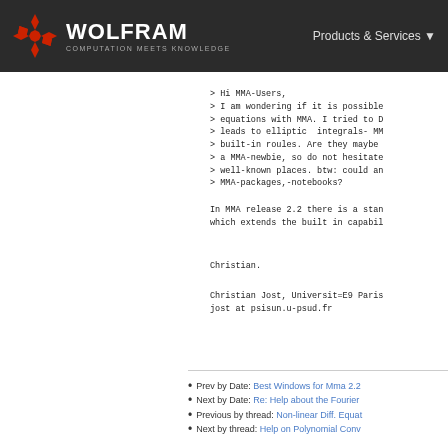WOLFRAM COMPUTATION MEETS KNOWLEDGE | Products & Services
> Hi MMA-Users,
> I am wondering if it is possible
> equations with MMA. I tried to D
> leads to elliptic integrals- MM
> built-in roules. Are they maybe
> a MMA-newbie, so do not hesitate
> well-known places. btw: could an
> MMA-packages,-notebooks?
In MMA release 2.2 there is a stan
which extends the built in capabil
Christian.
Christian Jost, Universit=E9 Paris
jost at psisun.u-psud.fr
Prev by Date: Best Windows for Mma 2.2
Next by Date: Re: Help about the Fourier
Previous by thread: Non-linear Diff. Equat
Next by thread: Help on Polynomial Conv